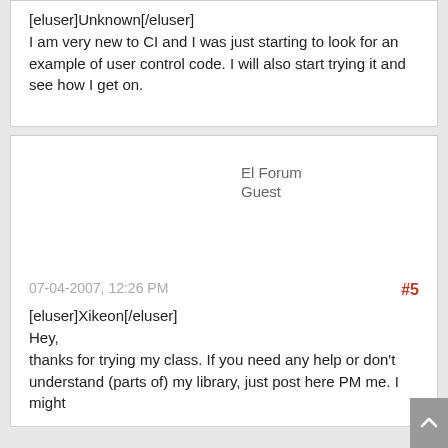[eluser]Unknown[/eluser]
I am very new to CI and I was just starting to look for an example of user control code. I will also start trying it and see how I get on.
El Forum
Guest
07-04-2007, 12:26 PM
#5
[eluser]Xikeon[/eluser]
Hey,
thanks for trying my class. If you need any help or don't understand (parts of) my library, just post here PM me. I might